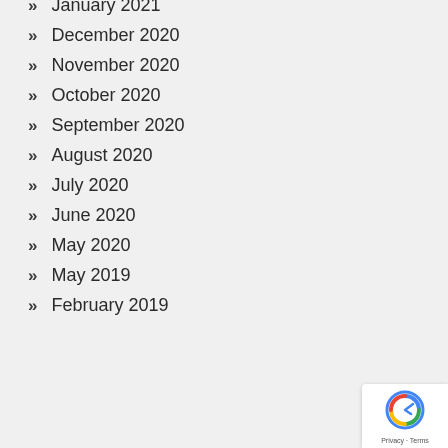January 2021
December 2020
November 2020
October 2020
September 2020
August 2020
July 2020
June 2020
May 2020
May 2019
February 2019